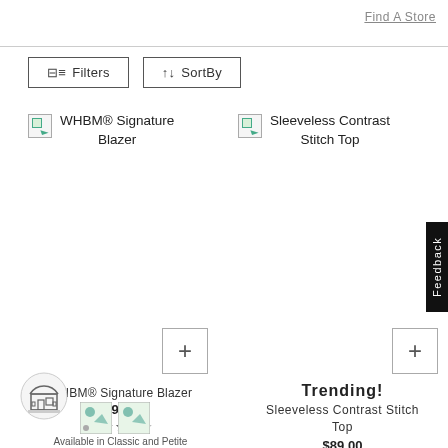Find A Store
Filters  SortBy
WHBM® Signature Blazer
Sleeveless Contrast Stitch Top
WHBM® Signature Blazer
Trending!
$195.00
Available in Classic and Petite
Sleeveless Contrast Stitch Top
$89.00
Feedback